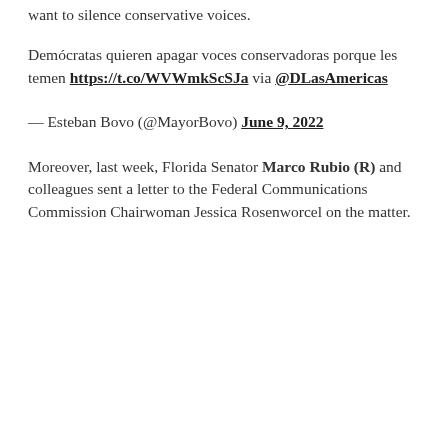want to silence conservative voices.
Demócratas quieren apagar voces conservadoras porque les temen https://t.co/WVWmkScSJa via @DLasAmericas
— Esteban Bovo (@MayorBovo) June 9, 2022
Moreover, last week, Florida Senator Marco Rubio (R) and colleagues sent a letter to the Federal Communications Commission Chairwoman Jessica Rosenworcel on the matter.